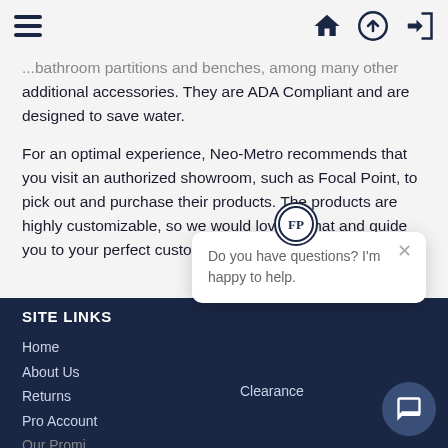Navigation bar with hamburger menu, home, upload, and login icons
...bathroom partitions and benches, among many other additional accessories. They are ADA Compliant and are designed to save water.
For an optimal experience, Neo-Metro recommends that you visit an authorized showroom, such as Focal Point, to pick out and purchase their products. The products are highly customizable, so we would love to chat and guide you to your perfect custom piece.
SITE LINKS
Home
About Us
Returns
Pro Account
Our Promise
Clearance
[Figure (other): Chat popup widget with Focal Point logo circle, close button, and text: Do you have questions? I'm happy to help.]
[Figure (other): Chat button circle in dark blue with chat bubble icon, bottom right corner]